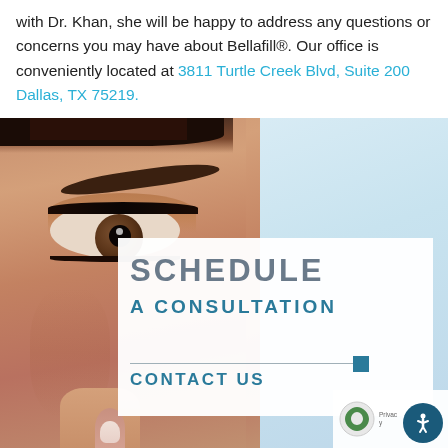with Dr. Khan, she will be happy to address any questions or concerns you may have about Bellafill®. Our office is conveniently located at 3811 Turtle Creek Blvd, Suite 200 Dallas, TX 75219.
[Figure (photo): Close-up photo of a woman's face showing eye with makeup, eyebrow, and partial face on light blue background. Overlaid white box with 'SCHEDULE A CONSULTATION' text and 'CONTACT US' call to action.]